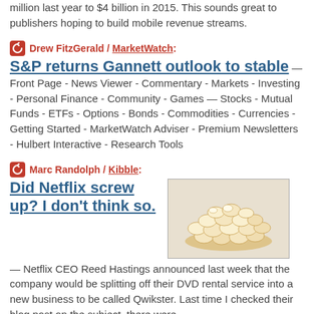million last year to $4 billion in 2015. This sounds great to publishers hoping to build mobile revenue streams.
Drew FitzGerald / MarketWatch:
S&P returns Gannett outlook to stable
— Front Page - News Viewer - Commentary - Markets - Investing - Personal Finance - Community - Games — Stocks - Mutual Funds - ETFs - Options - Bonds - Commodities - Currencies - Getting Started - MarketWatch Adviser - Premium Newsletters - Hulbert Interactive - Research Tools
Marc Randolph / Kibble:
Did Netflix screw up? I don't think so.
[Figure (photo): A pile of popcorn on a white background]
— Netflix CEO Reed Hastings announced last week that the company would be splitting off their DVD rental service into a new business to be called Qwikster. Last time I checked their blog post on the subject, there were